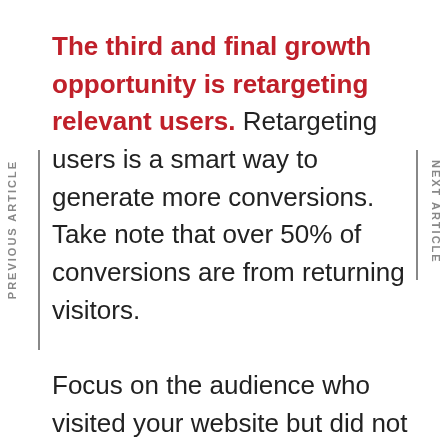The third and final growth opportunity is retargeting relevant users. Retargeting users is a smart way to generate more conversions. Take note that over 50% of conversions are from returning visitors.

Focus on the audience who visited your website but did not bounce and stayed long enough, visitors who clicked on the buttons and links on your website, and the users who did not convert. Now, combine these categories of the audience with the brand,